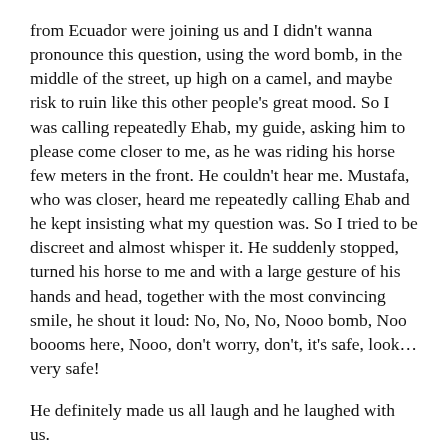from Ecuador were joining us and I didn't wanna pronounce this question, using the word bomb, in the middle of the street, up high on a camel, and maybe risk to ruin like this other people's great mood. So I was calling repeatedly Ehab, my guide, asking him to please come closer to me, as he was riding his horse few meters in the front. He couldn't hear me. Mustafa, who was closer, heard me repeatedly calling Ehab and he kept insisting what my question was. So I tried to be discreet and almost whisper it. He suddenly stopped, turned his horse to me and with a large gesture of his hands and head, together with the most convincing smile, he shout it loud: No, No, No, Nooo bomb, Noo boooms here, Nooo, don't worry, don't, it's safe, look... very safe!
He definitely made us all laugh and he laughed with us.
Mustafa continued his wise thoughts: "If you want to do something, do it, don't postpone, because you never